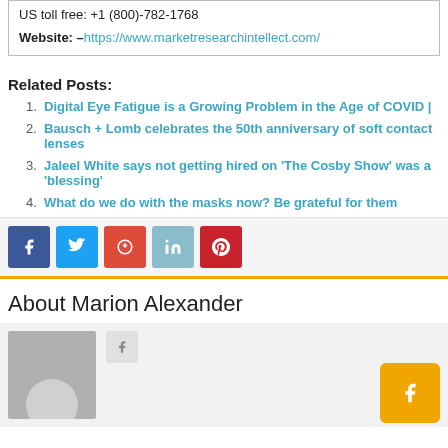US toll free: +1 (800)-782-1768
Website: – https://www.marketresearchintellect.com/
Related Posts:
Digital Eye Fatigue is a Growing Problem in the Age of COVID |
Bausch + Lomb celebrates the 50th anniversary of soft contact lenses
Jaleel White says not getting hired on 'The Cosby Show' was a 'blessing'
What do we do with the masks now? Be grateful for them
[Figure (other): Social media share buttons: Facebook, Twitter, Google+, LinkedIn, Pinterest]
About Marion Alexander
[Figure (photo): Author avatar placeholder (grey silhouette) with small share button and orange action button]